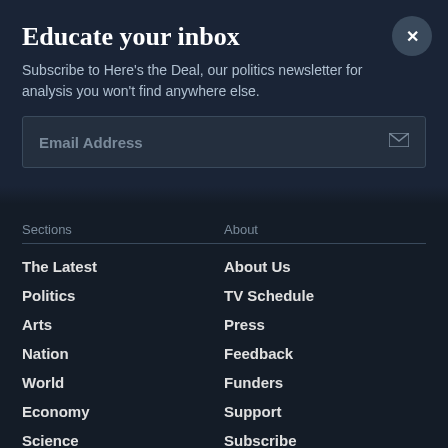Educate your inbox
Subscribe to Here's the Deal, our politics newsletter for analysis you won't find anywhere else.
Email Address
Sections
The Latest
Politics
Arts
Nation
World
Economy
Science
Health
Education
About
About Us
TV Schedule
Press
Feedback
Funders
Support
Subscribe
NewsHour West
Jobs